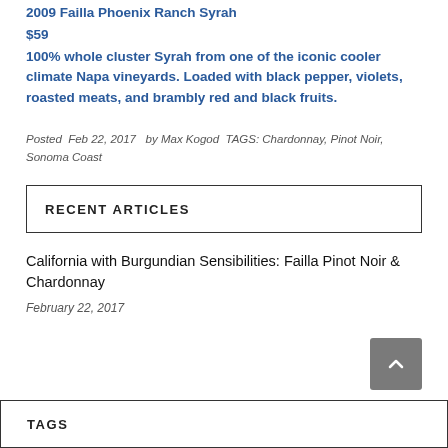2009 Failla Phoenix Ranch Syrah
$59
100% whole cluster Syrah from one of the iconic cooler climate Napa vineyards. Loaded with black pepper, violets, roasted meats, and brambly red and black fruits.
Posted  Feb 22, 2017  by Max Kogod  TAGS: Chardonnay, Pinot Noir, Sonoma Coast
RECENT ARTICLES
California with Burgundian Sensibilities: Failla Pinot Noir & Chardonnay
February 22, 2017
TAGS